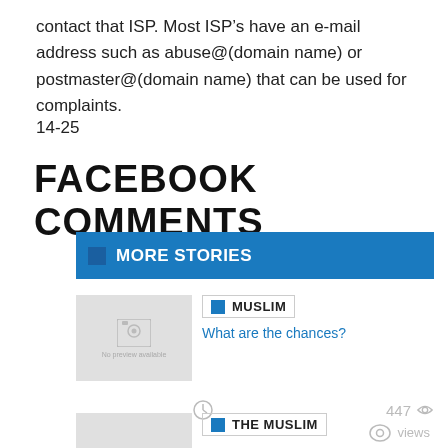contact that ISP. Most ISP’s have an e-mail address such as abuse@(domain name) or postmaster@(domain name) that can be used for complaints.
14-25
FACEBOOK COMMENTS
[Figure (screenshot): Blue 'MORE STORIES' bar with icon]
[Figure (screenshot): Story card with placeholder image, MUSLIM tag, link 'What are the chances?', clock icon, 447 views]
[Figure (screenshot): Second story card beginning with THE MUSLIM tag]